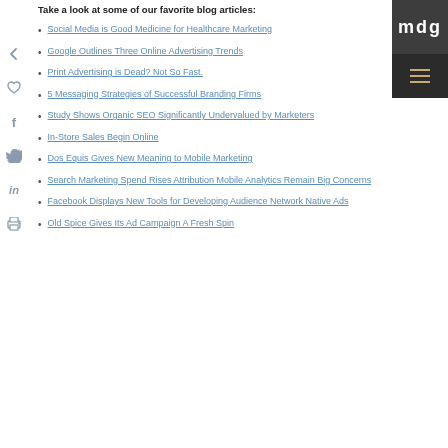Take a look at some of our favorite blog articles:
Social Media is Good Medicine for Healthcare Marketing
Google Outlines Three Online Advertising Trends
Print Advertising is Dead? Not So Fast.
5 Messaging Strategies of Successful Branding Firms
Study Shows Organic SEO Significantly Undervalued by Marketers
In-Store Sales Begin Online
Dos Equis Gives New Meaning to Mobile Marketing
Search Marketing Spend Rises Attribution Mobile Analytics Remain Big Concerns
Facebook Displays New Tools for Developing Audience Network Native Ads
Old Spice Gives Its Ad Campaign A Fresh Spin